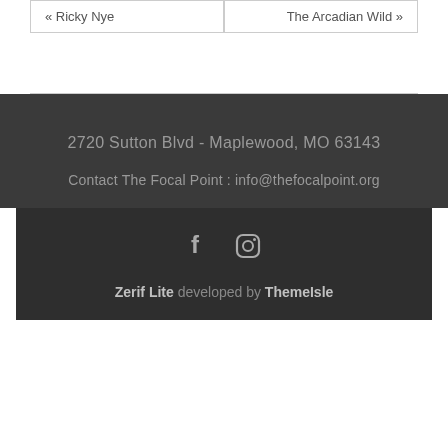« Ricky Nye    The Arcadian Wild »
2720 Sutton Blvd - Maplewood, MO 63143
Contact The Focal Point : info@thefocalpoint.org
[Figure (other): Social media icons: Facebook (f) and Instagram (camera) icons]
Zerif Lite developed by ThemeIsle